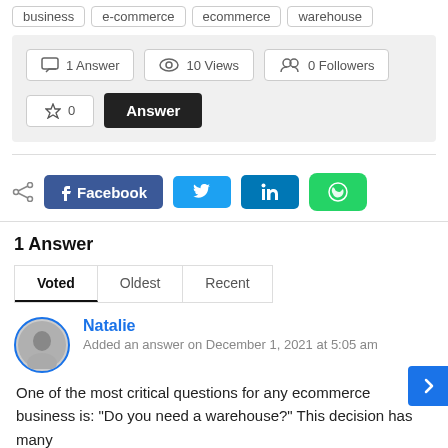business
e-commerce
ecommerce
warehouse
1 Answer   10 Views   0 Followers   ★ 0   Answer
[Figure (infographic): Social share buttons: Facebook, Twitter, LinkedIn, WhatsApp with share icon]
1 Answer
Voted   Oldest   Recent
Natalie
Added an answer on December 1, 2021 at 5:05 am
One of the most critical questions for any ecommerce business is: "Do you need a warehouse?" This decision has many